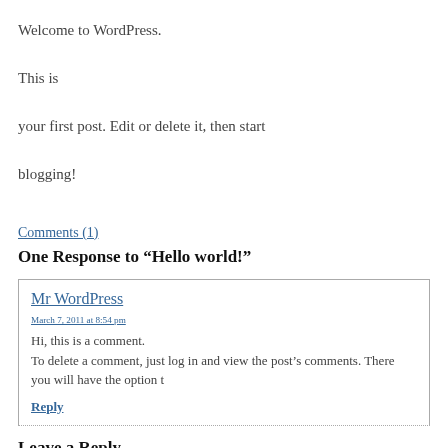Welcome to WordPress. This is your first post. Edit or delete it, then start blogging!
Comments (1)
One Response to “Hello world!”
Mr WordPress
March 7, 2011 at 8:54 pm
Hi, this is a comment.
To delete a comment, just log in and view the post’s comments. There you will have the option t…
Reply
Leave a Reply